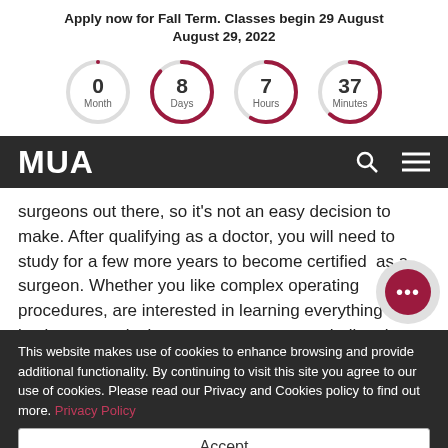Apply now for Fall Term. Classes begin 29 August
August 29, 2022
[Figure (infographic): Countdown timer showing 4 circular dials: 0 Month, 8 Days, 7 Hours, 37 Minutes]
MUA
surgeons out there, so it's not an easy decision to make. After qualifying as a doctor, you will need to study for a few more years to become certified as a surgeon. Whether you like complex operating procedures, are interested in learning everything there is about a particular or want to pursue a challenging and growing care...
This website makes use of cookies to enhance browsing and provide additional functionality. By continuing to visit this site you agree to our use of cookies. Please read our Privacy and Cookies policy to find out more. Privacy Policy
Accept